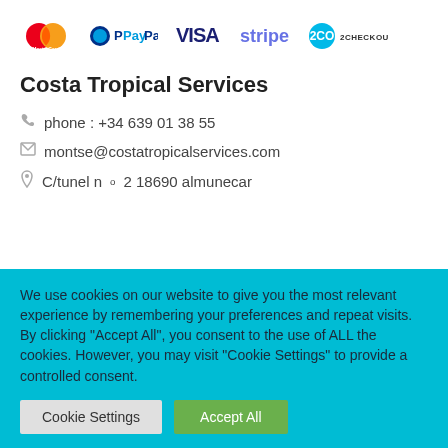[Figure (logo): Payment method logos: MasterCard, PayPal, VISA, stripe, 2Checkout]
Costa Tropical Services
phone : +34 639 01 38 55
montse@costatropicalservices.com
C/tunel n°2 18690 almunecar
We use cookies on our website to give you the most relevant experience by remembering your preferences and repeat visits. By clicking "Accept All", you consent to the use of ALL the cookies. However, you may visit "Cookie Settings" to provide a controlled consent.
Cookie Settings | Accept All